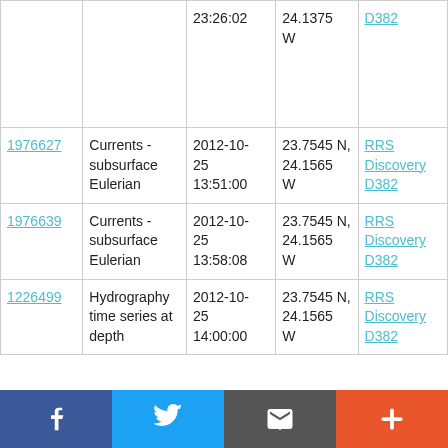| ID | Type | Date/Time | Position | Vessel |
| --- | --- | --- | --- | --- |
|  |  | 23:26:02 | 24.1375 W | D382 |
| 1976627 | Currents - subsurface Eulerian | 2012-10-25 13:51:00 | 23.7545 N, 24.1565 W | RRS Discovery D382 |
| 1976639 | Currents - subsurface Eulerian | 2012-10-25 13:58:08 | 23.7545 N, 24.1565 W | RRS Discovery D382 |
| 1226499 | Hydrography time series at depth | 2012-10-25 14:00:00 | 23.7545 N, 24.1565 W | RRS Discovery D382 |